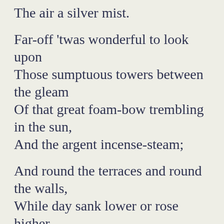The air a silver mist.
Far-off 'twas wonderful to look upon
Those sumptuous towers between the gleam
Of that great foam-bow trembling in the sun,
And the argent incense-steam;
And round the terraces and round the walls,
While day sank lower or rose higher,
To see those rails with all their knobs and balls,
Burn like a fringe of fire.